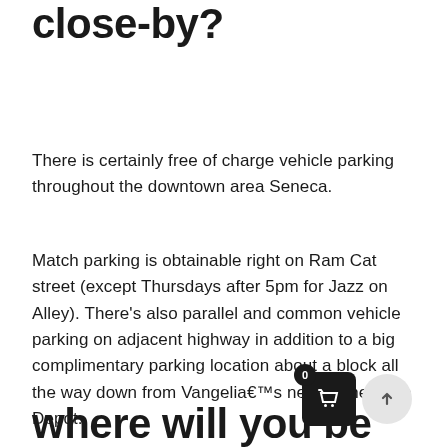close-by?
There is certainly free of charge vehicle parking throughout the downtown area Seneca.
Match parking is obtainable right on Ram Cat street (except Thursdays after 5pm for Jazz on Alley). There’s also parallel and common vehicle parking on adjacent highway in addition to a big complimentary parking location about a block all the way down from Vangelia€™s nearby the Train Depot.
where will you be